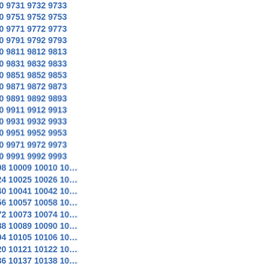9725 9726 9727 9728 9729 9730 9731 9732 9733 9745 9746 9747 9748 9749 9750 9751 9752 9753 9765 9766 9767 9768 9769 9770 9771 9772 9773 9785 9786 9787 9788 9789 9790 9791 9792 9793 9805 9806 9807 9808 9809 9810 9811 9812 9813 9825 9826 9827 9828 9829 9830 9831 9832 9833 9845 9846 9847 9848 9849 9850 9851 9852 9853 9865 9866 9867 9868 9869 9870 9871 9872 9873 9885 9886 9887 9888 9889 9890 9891 9892 9893 9905 9906 9907 9908 9909 9910 9911 9912 9913 9925 9926 9927 9928 9929 9930 9931 9932 9933 9945 9946 9947 9948 9949 9950 9951 9952 9953 9965 9966 9967 9968 9969 9970 9971 9972 9973 9985 9986 9987 9988 9989 9990 9991 9992 9993 10004 10005 10006 10007 10008 10009 10010 10020 10021 10022 10023 10024 10025 10026 10036 10037 10038 10039 10040 10041 10042 10052 10053 10054 10055 10056 10057 10058 10068 10069 10070 10071 10072 10073 10074 10084 10085 10086 10087 10088 10089 10090 10100 10101 10102 10103 10104 10105 10106 10116 10117 10118 10119 10120 10121 10122 10132 10133 10134 10135 10136 10137 10138 10148 10149 10150 10151 10152 10153 10154